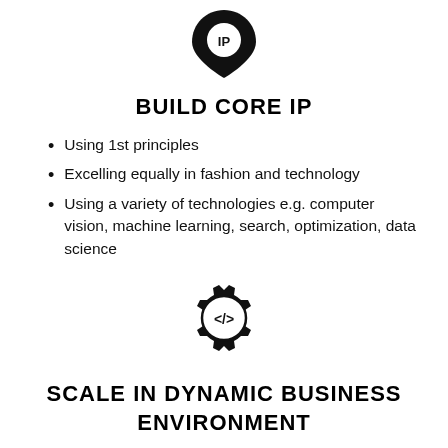[Figure (illustration): A location pin icon with the letters 'IP' inside it, in black.]
BUILD CORE IP
Using 1st principles
Excelling equally in fashion and technology
Using a variety of technologies e.g. computer vision, machine learning, search, optimization, data science
[Figure (illustration): A gear/cog icon with a code symbol '</>' inside it, in black.]
SCALE IN DYNAMIC BUSINESS ENVIRONMENT
Building a technology architecture that can scale and